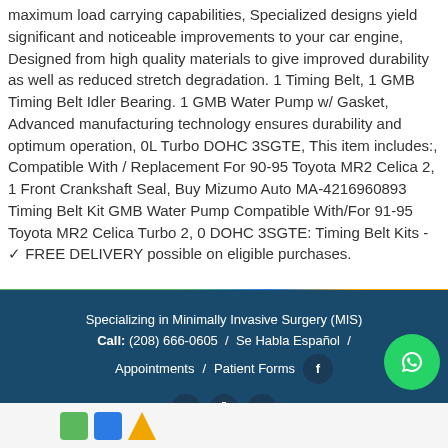maximum load carrying capabilities, Specialized designs yield significant and noticeable improvements to your car engine, Designed from high quality materials to give improved durability as well as reduced stretch degradation. 1 Timing Belt, 1 GMB Timing Belt Idler Bearing. 1 GMB Water Pump w/ Gasket, Advanced manufacturing technology ensures durability and optimum operation, 0L Turbo DOHC 3SGTE, This item includes:, Compatible With / Replacement For 90-95 Toyota MR2 Celica 2, 1 Front Crankshaft Seal, Buy Mizumo Auto MA-4216960893 Timing Belt Kit GMB Water Pump Compatible With/For 91-95 Toyota MR2 Celica Turbo 2, 0 DOHC 3SGTE: Timing Belt Kits - ✓ FREE DELIVERY possible on eligible purchases.
Specializing in Minimally Invasive Surgery (MIS)
Call: (208) 666-0605  /  Se Habla Español  /  Appointments  /  Patient Forms
[Figure (other): Dark teal banner with social/navigation icon circles (f, T, Ū, U) and a green WhatsApp button]
[Figure (logo): Bottom strip with green square, blue square, and orange triangle logo shapes]